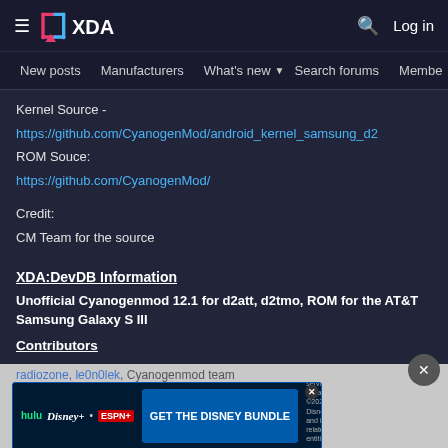XDA Developers — hamburger menu, XDA logo, search icon, Log in
New posts  Manufacturers  What's new ▾  Search forums  Members  >
Kernel Source -
https://github.com/CyanogenMod/android_kernel_samsung_d2
ROM Souce:
https://github.com/CyanogenMod/
Credit:
CM Team for the source
XDA:DevDB Information
Unofficial Cyanogenmod 12.1 for d2att, d2tmo, ROM for the AT&T Samsung Galaxy S III
Contributors
radiozone, le0n0lek, Cyanogenmod team
ROM OS Version:
ROM Kernel:
ROM Firmware:
Based On: CyanogenMod -
[Figure (screenshot): Disney Bundle advertisement banner showing Hulu, Disney+, and ESPN+ logos with a 'GET THE DISNEY BUNDLE' call-to-action button and fine print text.]